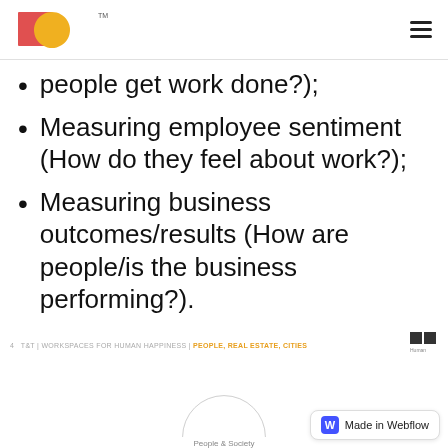Human City logo and navigation
people get work done?);
Measuring employee sentiment (How do they feel about work?);
Measuring business outcomes/results (How are people/is the business performing?).
4  T&T | WORKSPACES FOR HUMAN HAPPINESS | PEOPLE, REAL ESTATE, CITIES
[Figure (logo): Human City small logo in footer]
[Figure (illustration): Partial circle with 'People & Society' label at bottom of page]
[Figure (logo): Made in Webflow badge]